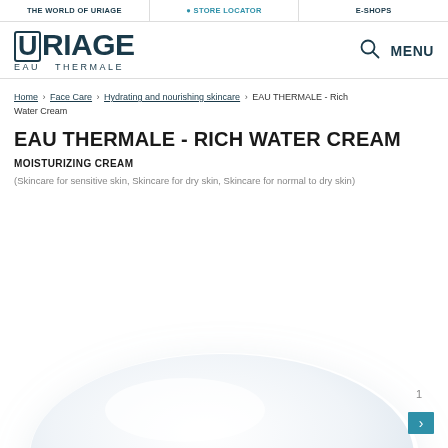THE WORLD OF URIAGE | STORE LOCATOR | E-SHOPS
URIAGE EAU THERMALE | MENU
Home › Face Care › Hydrating and nourishing skincare › EAU THERMALE - Rich Water Cream
EAU THERMALE - RICH WATER CREAM
MOISTURIZING CREAM
(Skincare for sensitive skin, Skincare for dry skin, Skincare for normal to dry skin)
[Figure (photo): Close-up of a white cream product blob/dollop on a white background]